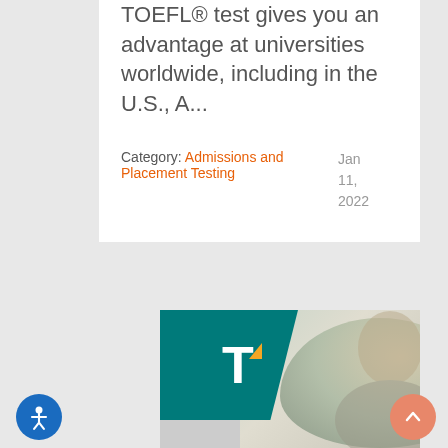TOEFL® test gives you an advantage at universities worldwide, including in the U.S., A...
Category: Admissions and Placement Testing
Jan 11, 2022
[Figure (photo): A smiling young man looking downward, with a TOEFL logo (white T on teal background with yellow triangle accent) overlaid in the upper left corner of the image.]